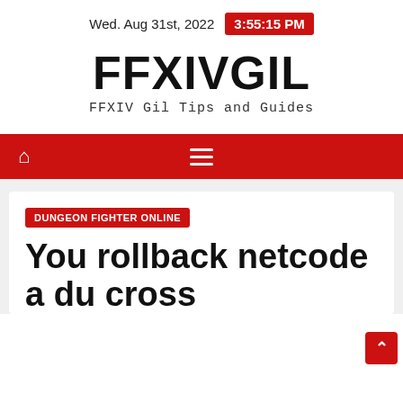Wed. Aug 31st, 2022   3:55:15 PM
FFXIVGIL
FFXIV Gil Tips and Guides
DUNGEON FIGHTER ONLINE
You rollback netcode a du cross